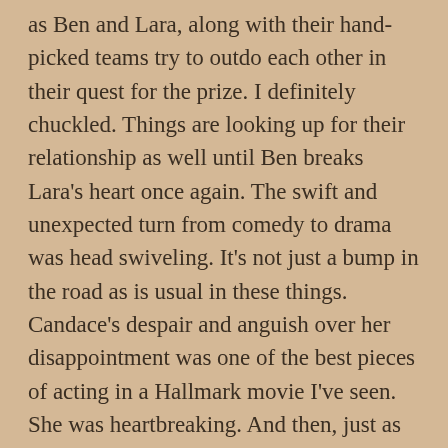as Ben and Lara, along with their hand-picked teams try to outdo each other in their quest for the prize. I definitely chuckled. Things are looking up for their relationship as well until Ben breaks Lara's heart once again. The swift and unexpected turn from comedy to drama was head swiveling. It's not just a bump in the road as is usual in these things. Candace's despair and anguish over her disappointment was one of the best pieces of acting in a Hallmark movie I've seen. She was heartbreaking. And then, just as we thought we were done with the dramatic developments, it exposes a dark side to her relationship with her mother, beautifully played by the apparently ageless Barbara Niven. Throughout the movie, Lara's mother seemed to have an ideal relationship with her daughter: